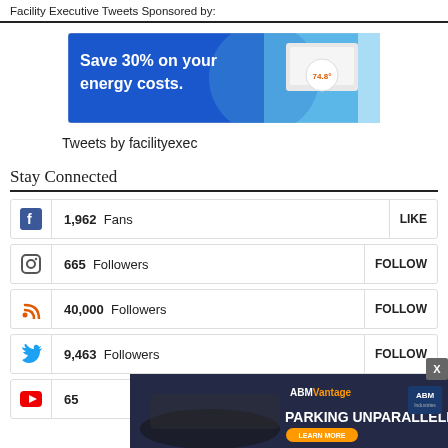Facility Executive Tweets Sponsored by:
[Figure (infographic): Blue advertisement banner reading 'Save 30% on your energy costs.' with a device/thermostat image on the right side]
Tweets by facilityexec
Stay Connected
1,962  Fans  LIKE
665  Followers  FOLLOW
40,000  Followers  FOLLOW
9,463  Followers  FOLLOW
65...  SUBSCRIBE
[Figure (infographic): ABM Vantage advertisement banner: 'PARKING UNPARALLELED' with LEARN MORE button and ABM logo]